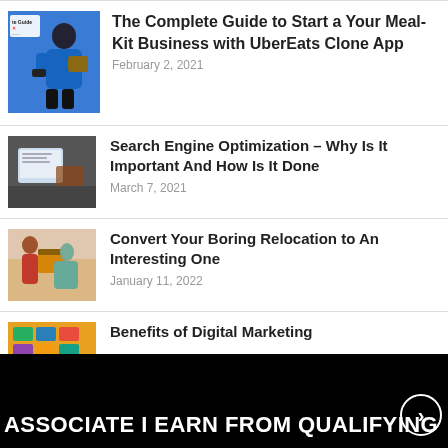[Figure (photo): Delivery person in blue wearing mask, holding a phone, book thumbnail in top-left corner]
The Complete Guide to Start a Your Meal-Kit Business with UberEats Clone App
February 2, 2021
[Figure (photo): Person typing on laptop]
Search Engine Optimization – Why Is It Important And How Is It Done
March 7, 2021
[Figure (photo): Two people carrying moving boxes]
Convert Your Boring Relocation to An Interesting One
January 11, 2022
[Figure (photo): Colorful digital marketing icons]
Benefits of Digital Marketing
ASSOCIATE I EARN FROM QUALIFYING